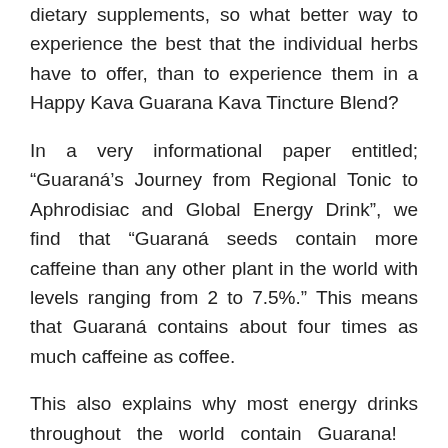dietary supplements, so what better way to experience the best that the individual herbs have to offer, than to experience them in a Happy Kava Guarana Kava Tincture Blend?
In a very informational paper entitled; “Guaraná’s Journey from Regional Tonic to Aphrodisiac and Global Energy Drink”, we find that “Guaraná seeds contain more caffeine than any other plant in the world with levels ranging from 2 to 7.5%.” This means that Guaraná contains about four times as much caffeine as coffee.
This also explains why most energy drinks throughout the world contain Guarana!  When blended with Kava, it actually calms the Guarana down a bit.  All of the stimulating effects are still there, but they are much